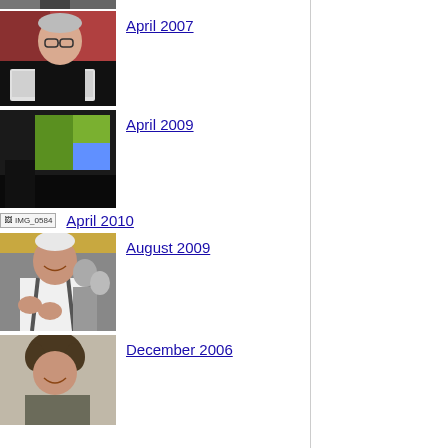[Figure (photo): Partial photo at top, cropped]
April 2007
[Figure (photo): Man with glasses working on laptop, red banner in background]
April 2009
[Figure (photo): Dark room with projection screen showing colorful display]
April 2010
[Figure (photo): IMG_0584 broken image placeholder]
August 2009
[Figure (photo): Older man in white shirt and suspenders, smiling and clapping]
December 2006
[Figure (photo): Person with curly hair, partial view, smiling]